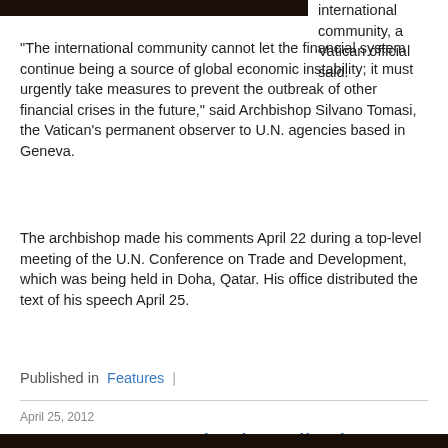[Figure (photo): Dark image at top left, partially cropped]
international community, a Vatican official said.
"The international community cannot let the financial system continue being a source of global economic instability; it must urgently take measures to prevent the outbreak of other financial crises in the future," said Archbishop Silvano Tomasi, the Vatican's permanent observer to U.N. agencies based in Geneva.
The archbishop made his comments April 22 during a top-level meeting of the U.N. Conference on Trade and Development, which was being held in Doha, Qatar. His office distributed the text of his speech April 25.
Published in  Features |
April 25, 2012
Pope names retired cardinals to investigate source of leaks to media
[Figure (photo): Dark image at bottom, partially cropped]